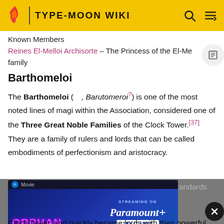TYPE-MOON WIKI
Known Members
Reines El-Melloi Archisorte – The Princess of the El-Me family
Barthomeloi
The Barthomeloi (, Barutomeroi?) is one of the most noted lines of magi within the Association, considered one of the Three Great Noble Families of the Clock Tower.[37] They are a family of rulers and lords that can be called embodiments of perfectionism and aristocracy.
Their lineage is mysterious and old even for the standards of the Clock Tower, and quickly became lords with their powerful
[Figure (screenshot): Advertisement banner for Orphan: First Kill movie streaming on Paramount+]